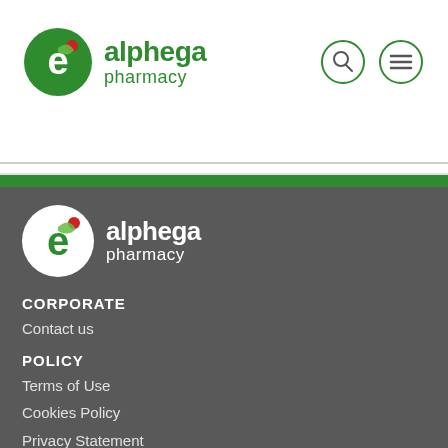[Figure (logo): Alphega Pharmacy logo in the header — green circle with stylized 'e' leaf icon, text 'alphega pharmacy' in green]
[Figure (logo): Search icon (magnifying glass) and menu icon (hamburger lines) as circular outline buttons in top-right of header]
[Figure (logo): Alphega Pharmacy logo in the footer — white circle with stylized 'e' leaf icon, text 'alphega pharmacy' in white]
CORPORATE
Contact us
POLICY
Terms of Use
Cookies Policy
Privacy Statement
Modern Slavery & Human Trafficking